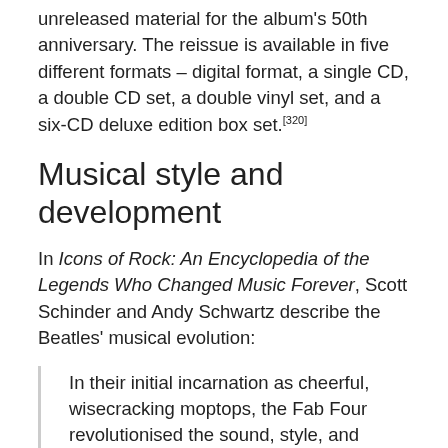unreleased material for the album's 50th anniversary. The reissue is available in five different formats – digital format, a single CD, a double CD set, a double vinyl set, and a six-CD deluxe edition box set.[320]
Musical style and development
In Icons of Rock: An Encyclopedia of the Legends Who Changed Music Forever, Scott Schinder and Andy Schwartz describe the Beatles' musical evolution:
In their initial incarnation as cheerful, wisecracking moptops, the Fab Four revolutionised the sound, style, and attitude of popular music and opened rock and roll's doors to a tidal wave of British rock acts. Their initial impact would have been enough to establish the Beatles as one of their era's most influential cultural forces, but they didn't stop there. Although their initial style was a highly original, irresistibly catchy synthesis of early American rock